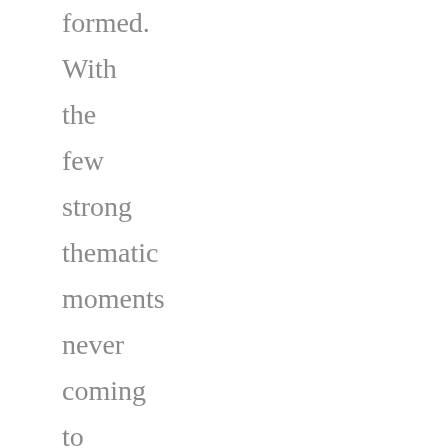formed. With the few strong thematic moments never coming to allegorical fruition, the film is by far more interested in scares of the moment